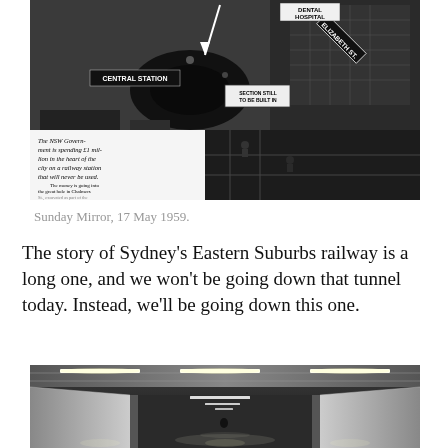[Figure (photo): Black and white newspaper clipping showing an aerial view of construction work at Chalmers Street near Central Station, with labels for Central Station, Dental Hospital, Elizabeth St, and a sign reading 'Section Still To Be Built In'. Includes text overlay about NSW Government spending £1 million on a railway station that will never be used, related to the Eastern Suburbs underground railway.]
Sunday Mirror, 17 May 1959.
The story of Sydney's Eastern Suburbs railway is a long one, and we won't be going down that tunnel today. Instead, we'll be going down this one.
[Figure (photo): Black and white photograph of a tunnel interior, showing a long corridor with fluorescent strip lighting on the ceiling and reflective metallic walls receding into the distance.]